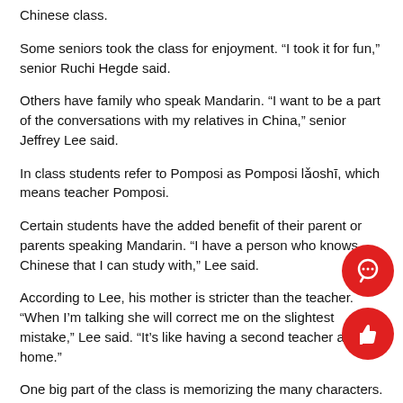Chinese class.
Some seniors took the class for enjoyment. “I took it for fun,” senior Ruchi Hegde said.
Others have family who speak Mandarin. “I want to be a part of the conversations with my relatives in China,” senior Jeffrey Lee said.
In class students refer to Pomposi as Pomposi lǎo shī, which means teacher Pomposi.
Certain students have the added benefit of their parent or parents speaking Mandarin. “I have a person who knows Chinese that I can study with,” Lee said.
According to Lee, his mother is stricter than the teacher. “When I’m talking she will correct me on the slightest mistake,” Lee said. “It’s like having a second teacher at home.”
One big part of the class is memorizing the many characters.
“You have to keep remembering,” Lee said, “Once you get in the of the grind, it’s not too bad.”